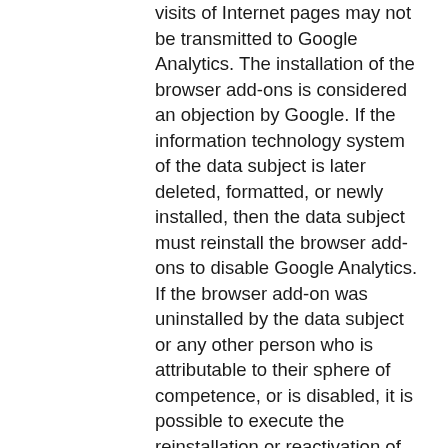visits of Internet pages may not be transmitted to Google Analytics. The installation of the browser add-ons is considered an objection by Google. If the information technology system of the data subject is later deleted, formatted, or newly installed, then the data subject must reinstall the browser add-ons to disable Google Analytics. If the browser add-on was uninstalled by the data subject or any other person who is attributable to their sphere of competence, or is disabled, it is possible to execute the reinstallation or reactivation of the browser add-ons.
Further information and the applicable data protection provisions of Google may